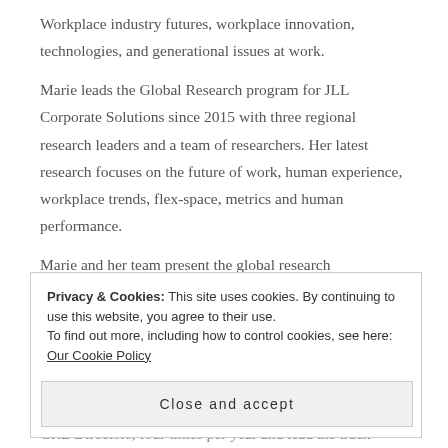Workplace industry futures, workplace innovation, technologies, and generational issues at work.
Marie leads the Global Research program for JLL Corporate Solutions since 2015 with three regional research leaders and a team of researchers. Her latest research focuses on the future of work, human experience, workplace trends, flex-space, metrics and human performance.
Marie and her team present the global research
Privacy & Cookies: This site uses cookies. By continuing to use this website, you agree to their use.
To find out more, including how to control cookies, see here: Our Cookie Policy
Close and accept
CRE Directors, four times per year and lead the track